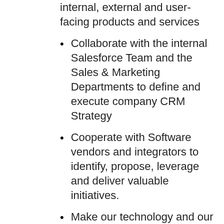internal, external and user-facing products and services
Collaborate with the internal Salesforce Team and the Sales & Marketing Departments to define and execute company CRM Strategy
Cooperate with Software vendors and integrators to identify, propose, leverage and deliver valuable initiatives.
Make our technology and our team scale as the business grows.
Own your deliverables from start to finish.
Deliver high-quality solutions.
Actively collaborate with your colleagues and learn from each other in a supportive environment